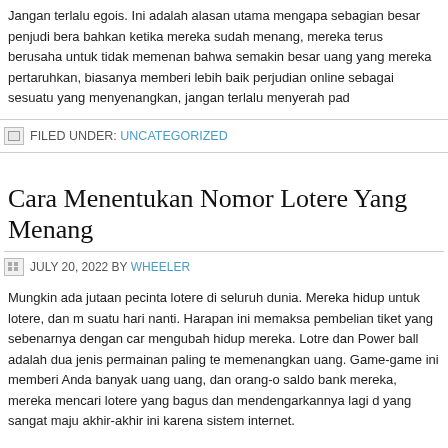Jangan terlalu egois. Ini adalah alasan utama mengapa sebagian besar penjudi bera bahkan ketika mereka sudah menang, mereka terus berusaha untuk tidak memena bahwa semakin besar uang yang mereka pertaruhkan, biasanya memberi lebih baik perjudian online sebagai sesuatu yang menyenangkan, jangan terlalu menyerah pad
FILED UNDER: UNCATEGORIZED
Cara Menentukan Nomor Lotere Yang Menang
JULY 20, 2022 BY WHEELER
Mungkin ada jutaan pecinta lotere di seluruh dunia. Mereka hidup untuk lotere, dan m suatu hari nanti. Harapan ini memaksa pembelian tiket yang sebenarnya dengan car mengubah hidup mereka. Lotre dan Power ball adalah dua jenis permainan paling te memenangkan uang. Game-game ini memberi Anda banyak uang uang, dan orang-o saldo bank mereka, mereka mencari lotere yang bagus dan mendengarkannya lagi d yang sangat maju akhir-akhir ini karena sistem internet.
Menjadi pasangan keberuntungan, Anda tidak bisa menerapkan banyak strategi. tog Anda mematuhi strategi umum untuk menemukan situs Anda yang menawarkan pe uang Anda dengan cerdik. Strategi panas untuk Keno online adalah memilih di 8, 9, dengan pergi untuk semua dari dua puluh digit. Meskipun itu meningkatkan peluang
Keberhasarkan lotere Online adalah sistem yang baik untuk situs